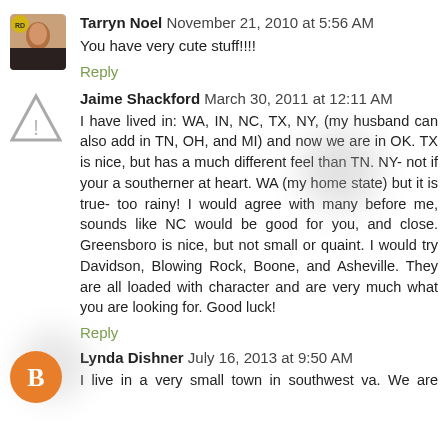Tarryn Noel  November 21, 2010 at 5:56 AM
You have very cute stuff!!!!
Reply
Jaime Shackford  March 30, 2011 at 12:11 AM
I have lived in: WA, IN, NC, TX, NY, (my husband can also add in TN, OH, and MI) and now we are in OK. TX is nice, but has a much different feel than TN. NY- not if your a southerner at heart. WA (my home state) but it is true- too rainy! I would agree with many before me, sounds like NC would be good for you, and close. Greensboro is nice, but not small or quaint. I would try Davidson, Blowing Rock, Boone, and Asheville. They are all loaded with character and are very much what you are looking for. Good luck!
Reply
Lynda Dishner  July 16, 2013 at 9:50 AM
I live in a very small town in southwest va. We are about 7